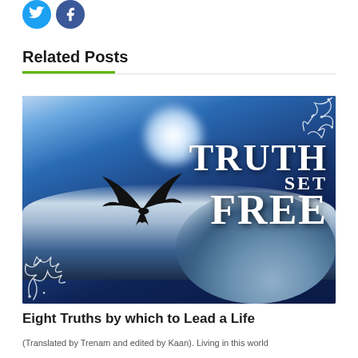[Figure (illustration): Social media icons: Twitter (blue bird) and Facebook (blue f) circular buttons]
Related Posts
[Figure (photo): Dark blue sky with dramatic light rays and clouds, a black bird silhouette in flight, decorative white floral ornaments in corners, text reading 'TRUTH SET FREE' in large white serif letters]
Eight Truths by which to Lead a Life
(Translated by Trenam and edited by Kaan). Living in this world